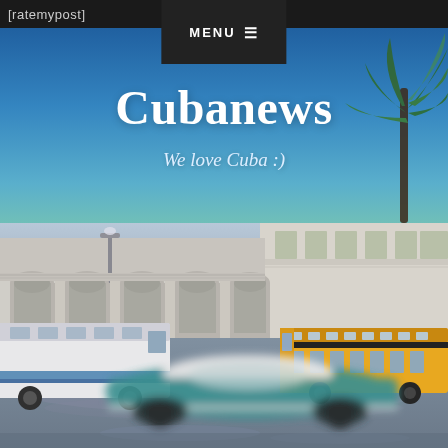[ratemypost]
Cubanews
We love Cuba :)
[Figure (photo): Street scene in Havana Cuba: colonial white arched building in background, yellow school bus, white city bus, teal vintage car motion-blurred in foreground, wet street, palm tree top right]